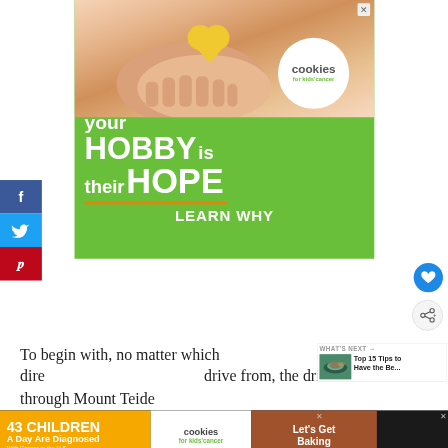[Figure (photo): Advertisement banner for 'Cookies for Kids Cancer' charity. Green background with photo of hands holding a heart-shaped cookie. White circular logo with 'cookies for kids cancer' text. Large white bold text: 'your HOBBY is their HOPE' with orange underline and 'LEARN WHY' text below.]
[Figure (infographic): Facebook, Twitter, and Pinterest social sharing sidebar buttons on the left edge of the page.]
[Figure (infographic): Blue circular heart/save button and light grey circular share button on right side.]
To begin with, no matter which dire drive from, the drive through Mount Teide
[Figure (photo): Small thumbnail image showing a bird (duck/waterfowl) on water, part of a 'What's Next' sidebar widget with text 'WHAT'S NEXT → Top 15 Tips to Have the Be...']
[Figure (infographic): Bottom advertisement banner for 'Cookies for Kids Cancer'. Dark background with orange section reading '43 CHILDREN A Day Are Diagnosed With Cancer in the U.S.', center white section with cookies for kids cancer logo, right brown section with 'Let's Get Baking' text.]